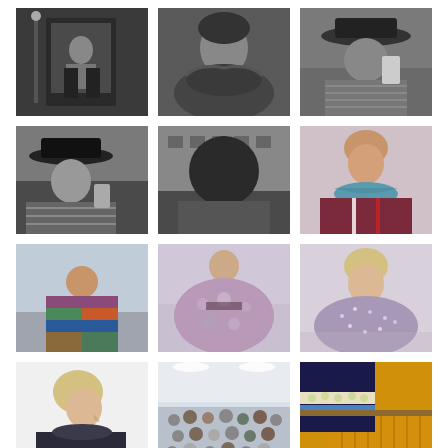[Figure (photo): Black and white photo of a person taking a selfie in front of an ornate building entrance]
[Figure (photo): Black and white photo of a woman with dark hair wearing a fur coat, looking to the side, crowd in background]
[Figure (photo): Black and white photo of a person in a wide-brim hat and striped clothing holding a phone]
[Figure (photo): Black and white photo of a woman in a wide-brim hat and striped top, looking up, holding a phone]
[Figure (photo): Black and white photo of a person with large afro hair among a crowd outside a building]
[Figure (photo): Color photo of a female model with a blue scarf around her neck wearing a dark burgundy top]
[Figure (photo): Color photo of a model on a runway seen from behind, wearing a colorful geometric patterned jacket]
[Figure (photo): Color photo of a model on a runway wearing a floral/textured purple-lavender cape or coat]
[Figure (photo): Color photo of a blonde model wearing a sparkly lavender/purple cape or wrap]
[Figure (photo): Color photo of a blonde model in profile wearing a dark turtleneck, minimalist white background]
[Figure (photo): Color photo of a fashion show audience seated in a bright white venue, runway setting]
[Figure (photo): Color photo of fashion details: yellow/mustard pleated skirt with embroidered/patterned sleeve and belt]